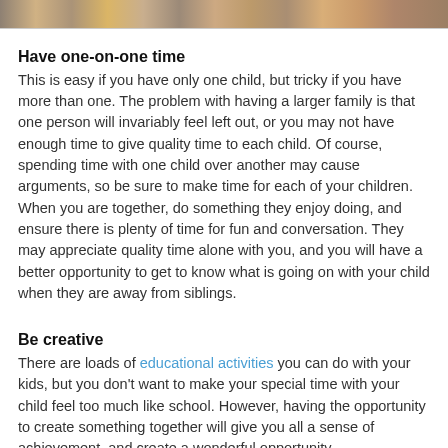[Figure (photo): Partial photo strip of children at the top of the page]
Have one-on-one time
This is easy if you have only one child, but tricky if you have more than one. The problem with having a larger family is that one person will invariably feel left out, or you may not have enough time to give quality time to each child. Of course, spending time with one child over another may cause arguments, so be sure to make time for each of your children. When you are together, do something they enjoy doing, and ensure there is plenty of time for fun and conversation. They may appreciate quality time alone with you, and you will have a better opportunity to get to know what is going on with your child when they are away from siblings.
Be creative
There are loads of educational activities you can do with your kids, but you don't want to make your special time with your child feel too much like school. However, having the opportunity to create something together will give you all a sense of achievement, and create a wonderful opportunity